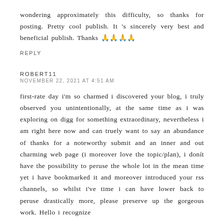wondering approximately this difficulty, so thanks for posting. Pretty cool publish. It 's sincerely very best and beneficial publish. Thanks 🙏🙏🙏🙏
REPLY
ROBERT11
NOVEMBER 22, 2021 AT 4:51 AM
first-rate day i'm so charmed i discovered your blog, i truly observed you unintentionally, at the same time as i was exploring on digg for something extraordinary, nevertheless i am right here now and can truely want to say an abundance of thanks for a noteworthy submit and an inner and out charming web page (i moreover love the topic/plan), i donít have the possibility to peruse the whole lot in the mean time yet i have bookmarked it and moreover introduced your rss channels, so whilst i've time i can have lower back to peruse drastically more, please preserve up the gorgeous work. Hello i recognize